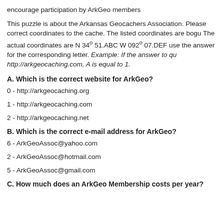encourage participation by ArkGeo members
This puzzle is about the Arkansas Geocachers Association. Please correct coordinates to the cache. The listed coordinates are bogu The actual coordinates are N 34° 51.ABC W 092° 07.DEF use the answer for the corresponding letter. Example: If the answer to qu http://arkgeocaching.com, A is equal to 1.
A. Which is the correct website for ArkGeo?
0 - http://arkgeocaching.org
1 - http://arkgeocaching.com
2 - http://arkgeocaching.net
B. Which is the correct e-mail address for ArkGeo?
6 - ArkGeoAssoc@yahoo.com
2 - ArkGeoAssoc@hotmail.com
5 - ArkGeoAssoc@gmail.com
C. How much does an ArkGeo Membership costs per year?